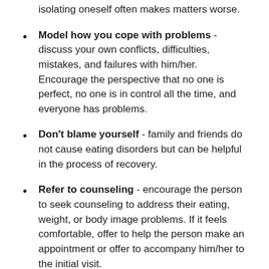isolating oneself often makes matters worse.
Model how you cope with problems - discuss your own conflicts, difficulties, mistakes, and failures with him/her. Encourage the perspective that no one is perfect, no one is in control all the time, and everyone has problems.
Don't blame yourself - family and friends do not cause eating disorders but can be helpful in the process of recovery.
Refer to counseling - encourage the person to seek counseling to address their eating, weight, or body image problems. If it feels comfortable, offer to help the person make an appointment or offer to accompany him/her to the initial visit.
Student Counseling Service - Miami University students can contact the Student Counseling Service for individual or group counseling to address eating concerns or to consult about an